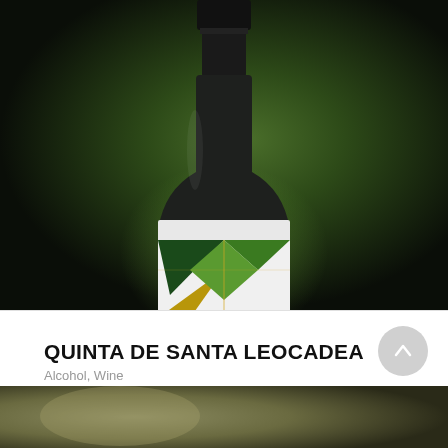[Figure (photo): Dark studio photo of a wine bottle with a geometric green and gold label design against a dark green background with dramatic lighting]
QUINTA DE SANTA LEOCADEA
Alcohol, Wine
95 views  6 likes  0 saves  0 comments
miguelfreitasdesign_studio  7 hours ago
[Figure (photo): Partial view of a second post image with dark olive/gold texture]